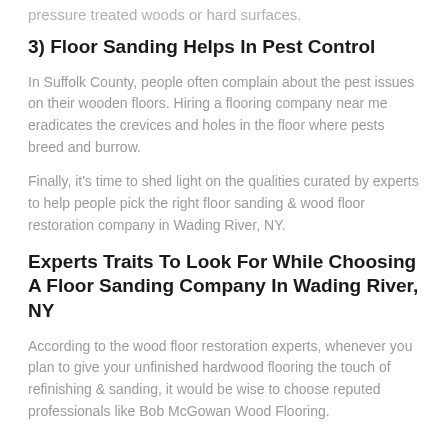pressure treated woods or hard surfaces.
3) Floor Sanding Helps In Pest Control
In Suffolk County, people often complain about the pest issues on their wooden floors. Hiring a flooring company near me eradicates the crevices and holes in the floor where pests breed and burrow.
Finally, it's time to shed light on the qualities curated by experts to help people pick the right floor sanding & wood floor restoration company in Wading River, NY.
Experts Traits To Look For While Choosing A Floor Sanding Company In Wading River, NY
According to the wood floor restoration experts, whenever you plan to give your unfinished hardwood flooring the touch of refinishing & sanding, it would be wise to choose reputed professionals like Bob McGowan Wood Flooring.